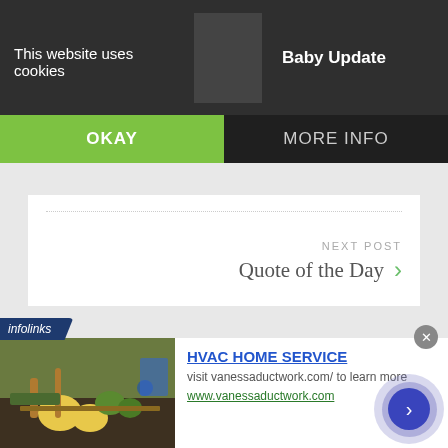This website uses cookies
Baby Update
OKAY
MORE INFO
NEXT POST
Quote of the Day
18 thoughts on “Outdoor Kitchen”
[Figure (infographic): Infolinks ad banner with HVAC Home Service advertisement showing gardening image, ad title, description and URL]
HVAC HOME SERVICE
visit vanessaductwork.com/ to learn more
www.vanessaductwork.com